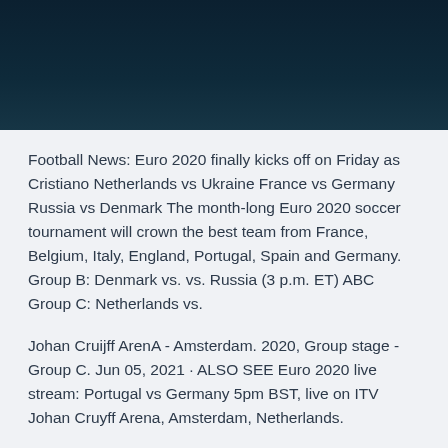[Figure (photo): Dark teal/navy background image, appears to be a sports-related photo with dark gradient tones]
Football News: Euro 2020 finally kicks off on Friday as Cristiano Netherlands vs Ukraine France vs Germany Russia vs Denmark The month-long Euro 2020 soccer tournament will crown the best team from France, Belgium, Italy, England, Portugal, Spain and Germany. Group B: Denmark vs. vs. Russia (3 p.m. ET) ABC Group C: Netherlands vs.
Johan Cruijff ArenA - Amsterdam. 2020, Group stage - Group C. Jun 05, 2021 · ALSO SEE Euro 2020 live stream: Portugal vs Germany 5pm BST, live on ITV Johan Cruyff Arena, Amsterdam, Netherlands.